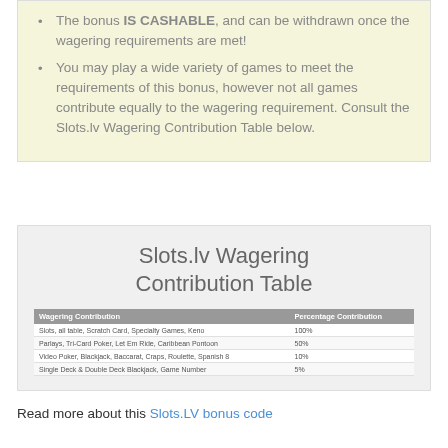The bonus IS CASHABLE, and can be withdrawn once the wagering requirements are met!
You may play a wide variety of games to meet the requirements of this bonus, however not all games contribute equally to the wagering requirement. Consult the Slots.lv Wagering Contribution Table below.
Slots.lv Wagering Contribution Table
| Wagering Contribution | Percentage Contribution |
| --- | --- |
| Slots, all table, Scratch Card, Specialty Games, Keno | 100% |
| Parlays, Tri-Card Poker, Let Em Ride, Caribbean Pontoon | 50% |
| Video Poker, Blackjack, Baccarat, Craps, Roulette, Spanish 8 | 10% |
| Single Deck & Double Deck Blackjack, Game Number | 5% |
Read more about this Slots.LV bonus code